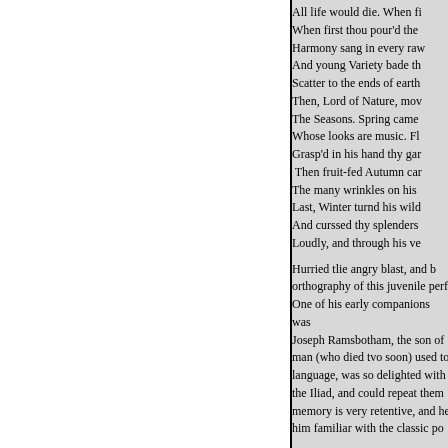All life would die. When fi
When first thou pour'd the
Harmony sang in every raw
And young Variety bade th
Scatter to the ends of earth
Then, Lord of Nature, mov
The Seasons. Spring came
Whose looks are music. Fl
Grasp'd in his hand thy gar
 Then fruit-fed Autumn car
The many wrinkles on his
Last, Winter turnd his wild
And curssed thy splenders
Loudly, and through his ve
Hurried tlie angry blast, and b orthography of this juvenile perf One of his early companions was Joseph Ramsbotham, the son of man (who died tvo soon) used to language, was so delighted with the Iliad, and could repeat them memory is very retentive, and he him familiar with the classic po